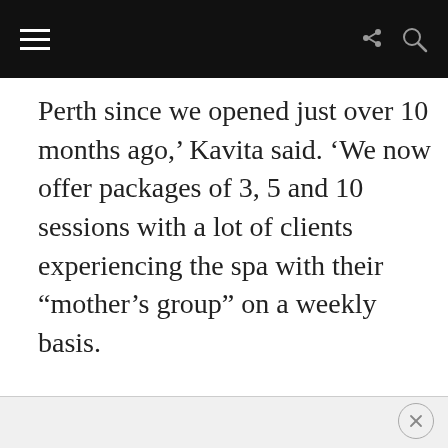Perth since we opened just over 10 months ago,’ Kavita said. ‘We now offer packages of 3, 5 and 10 sessions with a lot of clients experiencing the spa with their “mother’s group” on a weekly basis.
ADVERTISEMENT